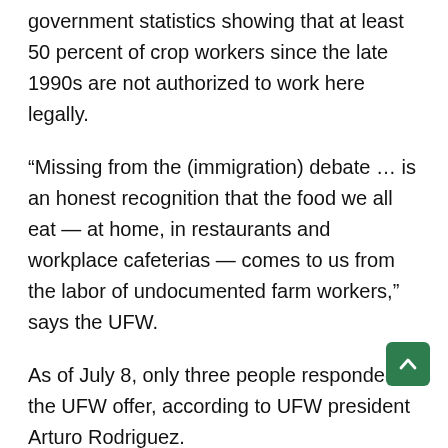government statistics showing that at least 50 percent of crop workers since the late 1990s are not authorized to work here legally.
“Missing from the (immigration) debate … is an honest recognition that the food we all eat — at home, in restaurants and workplace cafeterias — comes to us from the labor of undocumented farm workers,” says the UFW.
As of July 8, only three people responded to the UFW offer, according to UFW president Arturo Rodriguez.
The UFW campaign may just be a publicity stunt